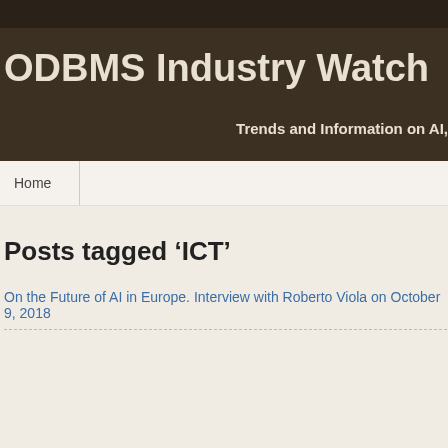ODBMS Industry Watch
Trends and Information on AI,
Home
Posts tagged ‘ICT’
On the Future of AI in Europe. Interview with Roberto Viola on October 9, 2018